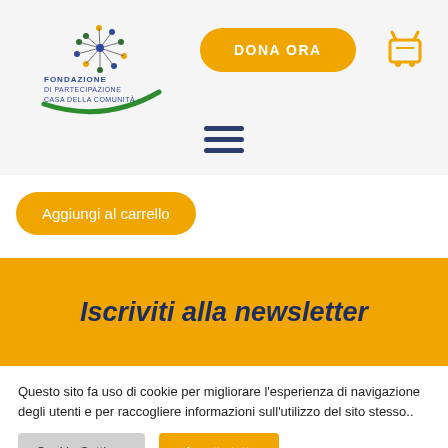[Figure (logo): Fondazione di Partecipazione Casa della Comunità logo with dandelion-like dot pattern and green arc]
DONA ORA
[Figure (illustration): Shopping cart icon in golden/yellow color]
[Figure (illustration): Hamburger menu icon (three horizontal lines) in dark navy blue]
Aggiungi al carrello
Iscriviti alla newsletter
Questo sito fa uso di cookie per migliorare l'esperienza di navigazione degli utenti e per raccogliere informazioni sull'utilizzo del sito stesso..
Cookie Settings
Accetta tutto